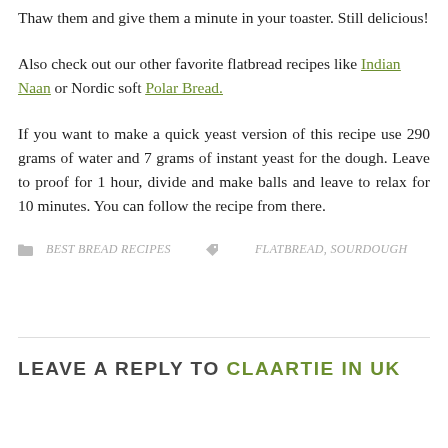Thaw them and give them a minute in your toaster. Still delicious!
Also check out our other favorite flatbread recipes like Indian Naan or Nordic soft Polar Bread.
If you want to make a quick yeast version of this recipe use 290 grams of water and 7 grams of instant yeast for the dough. Leave to proof for 1 hour, divide and make balls and leave to relax for 10 minutes. You can follow the recipe from there.
BEST BREAD RECIPES   FLATBREAD, SOURDOUGH
LEAVE A REPLY TO CLAARTIE IN UK